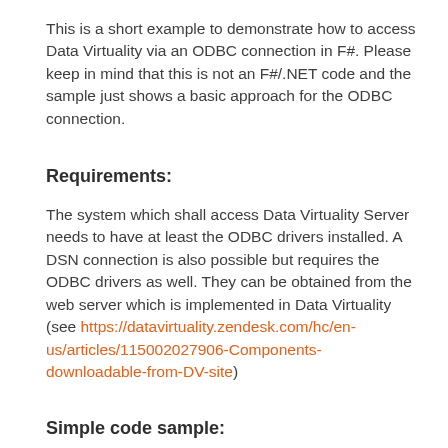This is a short example to demonstrate how to access Data Virtuality via an ODBC connection in F#. Please keep in mind that this is not an F#/.NET code and the sample just shows a basic approach for the ODBC connection.
Requirements:
The system which shall access Data Virtuality Server needs to have at least the ODBC drivers installed. A DSN connection is also possible but requires the ODBC drivers as well. They can be obtained from the web server which is implemented in Data Virtuality (see https://datavirtuality.zendesk.com/hc/en-us/articles/115002027906-Components-downloadable-from-DV-site)
Simple code sample: